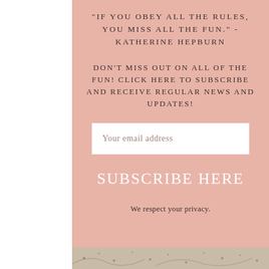"IF YOU OBEY ALL THE RULES, YOU MISS ALL THE FUN." -KATHERINE HEPBURN
DON'T MISS OUT ON ALL OF THE FUN! CLICK HERE TO SUBSCRIBE AND RECEIVE REGULAR NEWS AND UPDATES!
Your email address
SUBSCRIBE HERE
We respect your privacy.